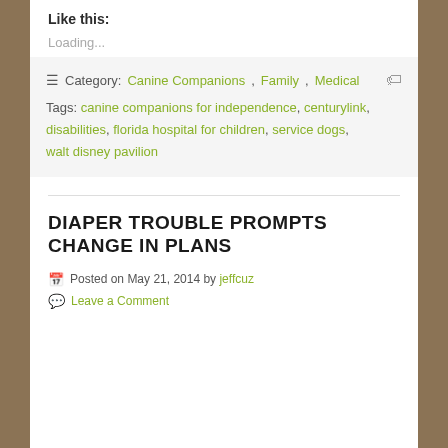Like this:
Loading...
Category: Canine Companions, Family, Medical  Tags: canine companions for independence, centurylink, disabilities, florida hospital for children, service dogs, walt disney pavilion
DIAPER TROUBLE PROMPTS CHANGE IN PLANS
Posted on May 21, 2014 by jeffcuz
Leave a Comment